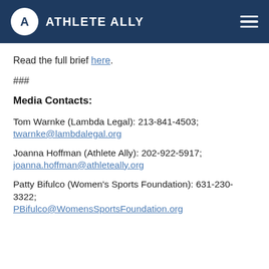ATHLETE ALLY
Read the full brief here.
###
Media Contacts:
Tom Warnke (Lambda Legal): 213-841-4503; twarnke@lambdalegal.org
Joanna Hoffman (Athlete Ally): 202-922-5917; joanna.hoffman@athleteally.org
Patty Bifulco (Women's Sports Foundation): 631-230-3322; PBifulco@WomensSportsFoundation.org